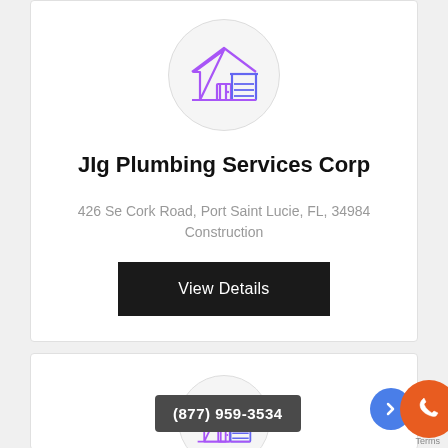[Figure (logo): House with garage icon in purple/violet outline style inside a light gray circle]
JIg Plumbing Services Corp
426 Se Cork Road, Port Saint Lucie, FL, 34984
Construction
View Details
[Figure (logo): House with garage icon in purple/violet outline style inside a light gray circle (second card, partially visible)]
(877) 959-3534